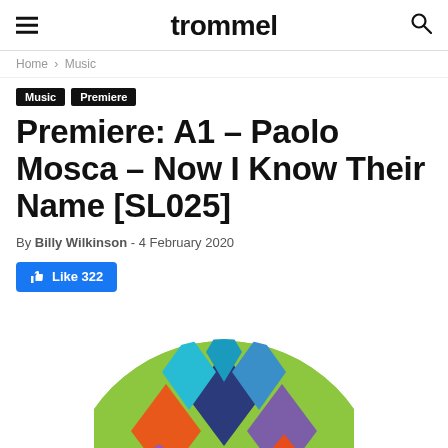trommel
Home › Music
Music
Premiere
Premiere: A1 – Paolo Mosca – Now I Know Their Name [SL025]
By Billy Wilkinson - 4 February 2020
Like 322
[Figure (illustration): Colorful circular album artwork with geometric diamond/triangular shapes in green, orange, purple, blue, and teal on a lime green background.]